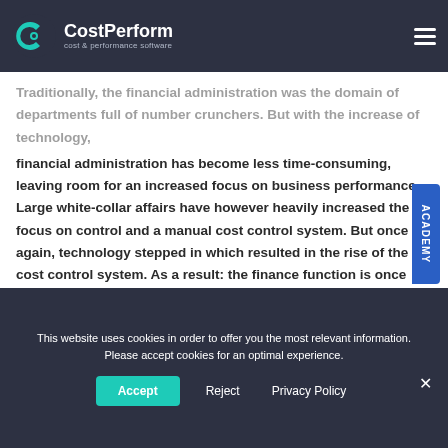CostPerform — cost & performance software
Traditionally, the financial administration was the domain of departments full of number crunchers. But with the increase of technology, financial administration has become less time-consuming, leaving room for an increased focus on business performance. Large white-collar affairs have however heavily increased the focus on control and a manual cost control system. But once again, technology stepped in which resulted in the rise of the cost control system. As a result: the finance function is once again in pole position to act as the partner of the business.
This website uses cookies in order to offer you the most relevant information. Please accept cookies for an optimal experience.